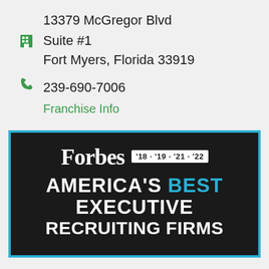13379 McGregor Blvd
Suite #1
Fort Myers, Florida 33919
239-690-7006
Franchise Info
[Figure (logo): Forbes America's Best Executive Recruiting Firms badge, years '18 '19 '21 '22, white and blue text on black background with blue border]